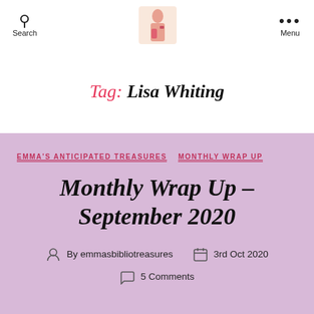Search | [logo] | Menu
Tag: Lisa Whiting
EMMA'S ANTICIPATED TREASURES   MONTHLY WRAP UP
Monthly Wrap Up – September 2020
By emmasbibliotreasures   3rd Oct 2020   5 Comments